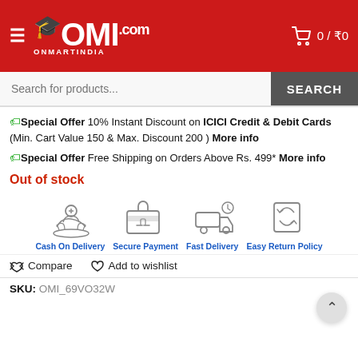OMI ONMARTINDIA — 0 / ₹0
Search for products...
🏷 Special Offer 10% Instant Discount on ICICI Credit & Debit Cards (Min. Cart Value 150 & Max. Discount 200 ) More info
🏷 Special Offer Free Shipping on Orders Above Rs. 499* More info
Out of stock
[Figure (infographic): Four service icons: Cash On Delivery (hand with money), Secure Payment (lock/card), Fast Delivery (truck with clock), Easy Return Policy (document with arrows)]
Cash On Delivery  Secure Payment  Fast Delivery  Easy Return Policy
⇄ Compare   ♡ Add to wishlist
SKU: OMI_69VO32W